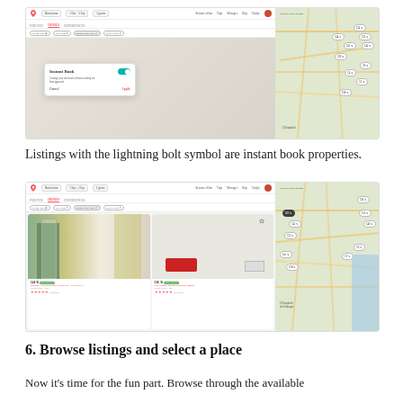[Figure (screenshot): Airbnb website screenshot showing Instant Book toggle popup and map view of Barcelona listings]
Listings with the lightning bolt symbol are instant book properties.
[Figure (screenshot): Airbnb website screenshot showing two listing cards (DOUBLE ROOM INDEPENDENT - BALCONY and City Center, Merino Sagrada Familia) alongside a map of Barcelona]
6. Browse listings and select a place
Now it's time for the fun part. Browse through the available